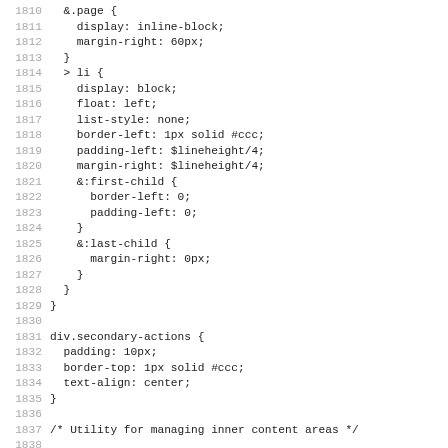Code listing lines 1810-1842 showing CSS code for pagination and secondary actions styles